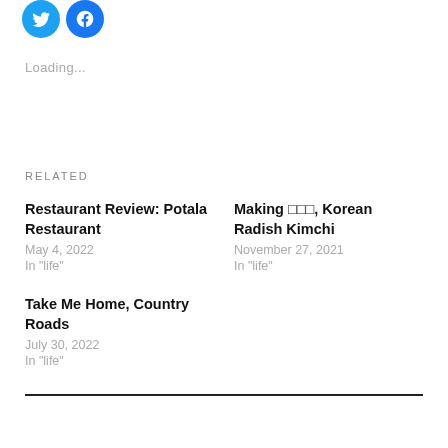[Figure (logo): Two circular social media icon buttons (Twitter blue and Facebook blue)]
Loading...
Related
Restaurant Review: Potala Restaurant
May 4, 2022
In "life"
Making ▯▯▯, Korean Radish Kimchi
November 27, 2021
In "life"
Take Me Home, Country Roads
July 30, 2022
In "life"